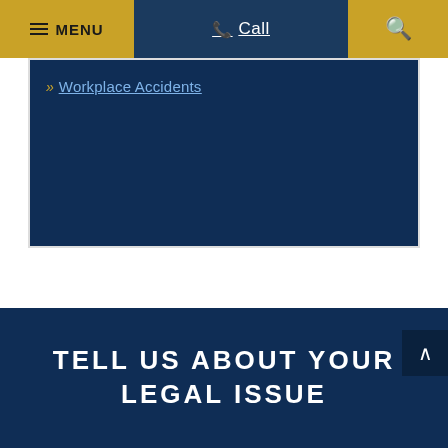≡ MENU | Call | 🔍
» Workplace Accidents
TELL US ABOUT YOUR LEGAL ISSUE